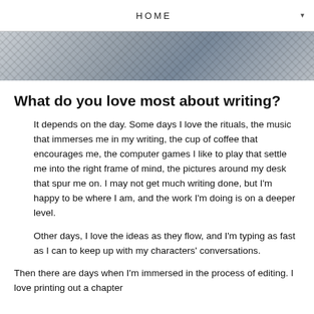HOME
[Figure (photo): Cropped photo of a person wearing a patterned dark top, showing torso area]
What do you love most about writing?
It depends on the day. Some days I love the rituals, the music that immerses me in my writing, the cup of coffee that encourages me, the computer games I like to play that settle me into the right frame of mind, the pictures around my desk that spur me on. I may not get much writing done, but I'm happy to be where I am, and the work I'm doing is on a deeper level.
Other days, I love the ideas as they flow, and I'm typing as fast as I can to keep up with my characters' conversations.
Then there are days when I'm immersed in the process of editing. I love printing out a chapter